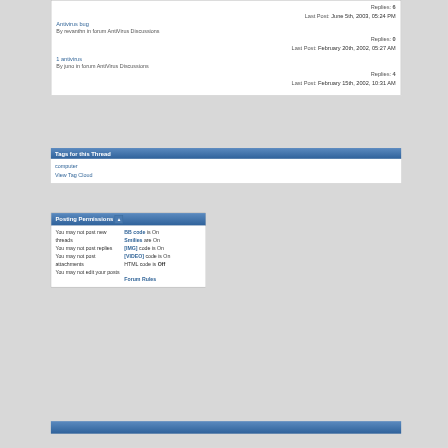Antivirus bug
By revanthn in forum AntiVirus Discussions
Replies: 0
Last Post: February 20th, 2002, 05:27 AM
1 antivirus
By juno in forum AntiVirus Discussions
Replies: 4
Last Post: February 15th, 2002, 10:31 AM
Tags for this Thread
computer
View Tag Cloud
Posting Permissions
You may not post new threads
You may not post replies
You may not post attachments
You may not edit your posts
BB code is On
Smilies are On
[IMG] code is On
[VIDEO] code is On
HTML code is Off
Forum Rules